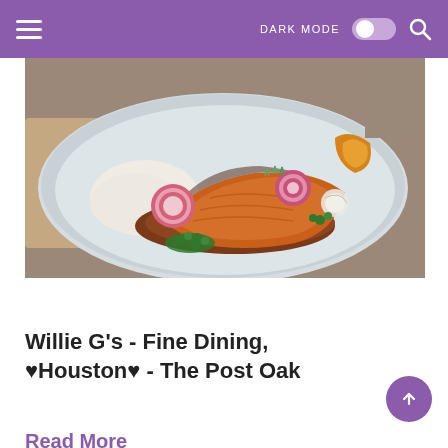DARK MODE | Search
[Figure (photo): A beautifully plated salmon fillet on a gray ceramic plate, served on a bed of red quinoa with white cream sauce, pickled radish slices, microgreens, and roasted vegetables.]
Willie G's - Fine Dining, ♥Houston♥ - The Post Oak
Read More